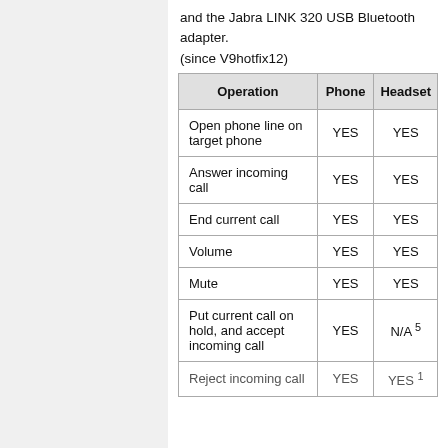and the Jabra LINK 320 USB Bluetooth adapter.
(since V9hotfix12)
| Operation | Phone | Headset |
| --- | --- | --- |
| Open phone line on target phone | YES | YES |
| Answer incoming call | YES | YES |
| End current call | YES | YES |
| Volume | YES | YES |
| Mute | YES | YES |
| Put current call on hold, and accept incoming call | YES | N/A 5 |
| Reject incoming call | YES | YES 1 |